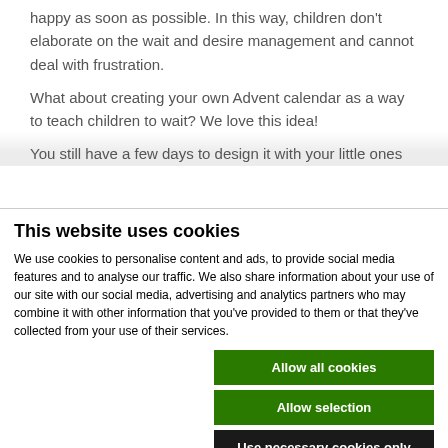happy as soon as possible. In this way, children don't elaborate on the wait and desire management and cannot deal with frustration.
What about creating your own Advent calendar as a way to teach children to wait? We love this idea!
You still have a few days to design it with your little ones
This website uses cookies
We use cookies to personalise content and ads, to provide social media features and to analyse our traffic. We also share information about your use of our site with our social media, advertising and analytics partners who may combine it with other information that you've provided to them or that they've collected from your use of their services.
Allow all cookies
Allow selection
Use necessary cookies only
Necessary  Preferences  Statistics  Marketing  Show details